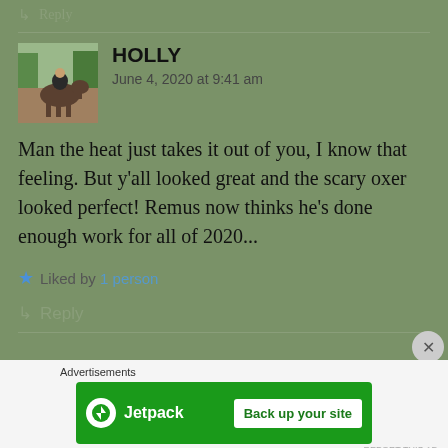↳ Reply
[Figure (photo): Avatar photo of person on horseback in water/muddy area]
HOLLY
June 4, 2020 at 9:41 am
Man the heat just takes it out of you, I know that feeling. But y'all looked great and the scary oxer looked perfect! Remus now thinks he's done enough work for all of 2020...
Liked by 1 person
↳ Reply
[Figure (logo): Jetpack advertisement banner with 'Back up your site' button]